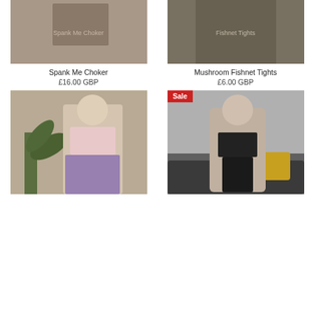[Figure (photo): Close-up photo of a person with chest tattoos including the word 'family', wearing dark clothing]
[Figure (photo): Close-up photo of legs wearing fishnet tights with tattoos, with a yellow accessory visible at top]
Spank Me Choker
£16.00 GBP
Mushroom Fishnet Tights
£6.00 GBP
[Figure (photo): Full-length photo of a blonde tattooed woman wearing a pink crop top with 'Peachy' text, purple plaid mini skirt, and fishnet tights, standing next to a large green plant with a mystic eye symbol in the background]
[Figure (photo): Photo of a dark-haired tattooed woman wearing black lingerie/strappy bodysuit, kneeling on a velvet couch with a mustard yellow pillow, with a Sale badge in the top left corner]